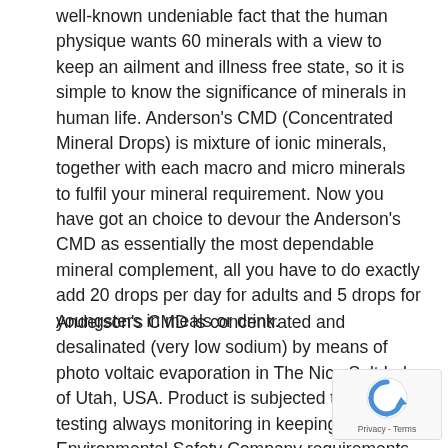well-known undeniable fact that the human physique wants 60 minerals with a view to keep an ailment and illness free state, so it is simple to know the significance of minerals in human life. Anderson's CMD (Concentrated Mineral Drops) is mixture of ionic minerals, together with each macro and micro minerals to fulfil your mineral requirement. Now you have got an choice to devour the Anderson's CMD as essentially the most dependable mineral complement, all you have to do exactly add 20 drops per day for adults and 5 drops for youngsters in meals or drink.
Anderson's CMD is concentrated and desalinated (very low sodium) by means of photo voltaic evaporation in The Nice Salt Lake of Utah, USA. Product is subjected to intensive testing always monitoring in keeping with Environmental Safety Company requirements to make sure the absence of any contamination. Anderson's CMD
[Figure (other): reCAPTCHA logo with Privacy - Terms text]